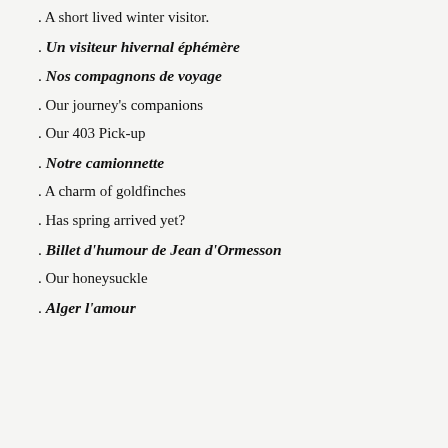. A short lived winter visitor.
. Un visiteur hivernal éphémère
. Nos compagnons de voyage
. Our journey's companions
. Our 403 Pick-up
. Notre camionnette
. A charm of goldfinches
. Has spring arrived yet?
. Billet d'humour de Jean d'Ormesson
. Our honeysuckle
. Alger l'amour